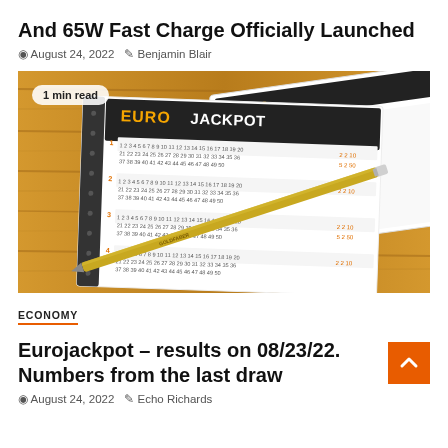And 65W Fast Charge Officially Launched
August 24, 2022   Benjamin Blair
[Figure (photo): EuroJackpot lottery ticket with a gold pencil on a wooden table, overlaid with another EuroJackpot ticket. Badge reading '1 min read' in top-left corner.]
ECONOMY
Eurojackpot – results on 08/23/22. Numbers from the last draw
August 24, 2022   Echo Richards